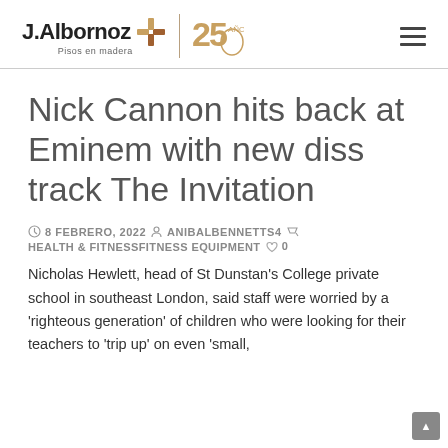J.Albornoz Pisos en madera | 25 Años
Nick Cannon hits back at Eminem with new diss track The Invitation
8 FEBRERO, 2022  ANIBALBENNETTS4  HEALTH & FITNESSFITNESS EQUIPMENT  0
Nicholas Hewlett, head of St Dunstan's College private school in southeast London, said staff were worried by a 'righteous generation' of children who were looking for their teachers to 'trip up' on even 'small,